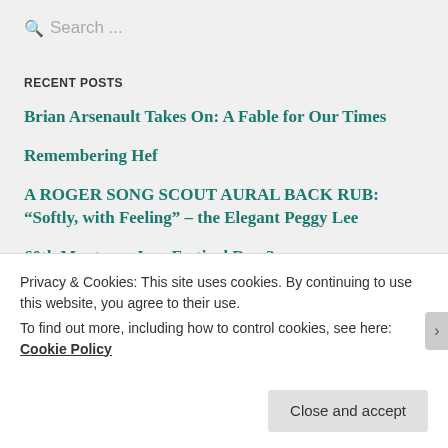Search ...
RECENT POSTS
Brian Arsenault Takes On: A Fable for Our Times
Remembering Hef
A ROGER SONG SCOUT AURAL BACK RUB: “Softly, with Feeling” – the Elegant Peggy Lee
60th Monterey Jazz Festival Day 3
Privacy & Cookies: This site uses cookies. By continuing to use this website, you agree to their use. To find out more, including how to control cookies, see here: Cookie Policy